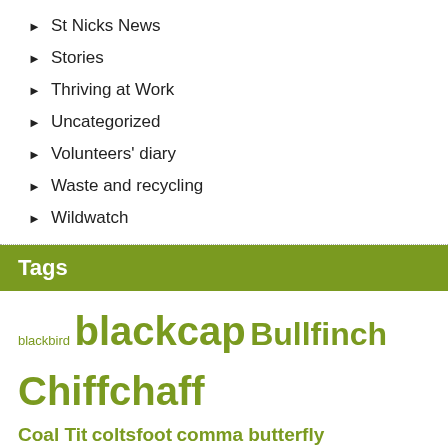St Nicks News
Stories
Thriving at Work
Uncategorized
Volunteers' diary
Waste and recycling
Wildwatch
Tags
blackbird blackcap Bullfinch Chiffchaff Coal Tit coltsfoot comma butterfly cowslip ecotherapy goldcrest Goldfinch Gorse Shieldbug Great spotted woodpecker Grey